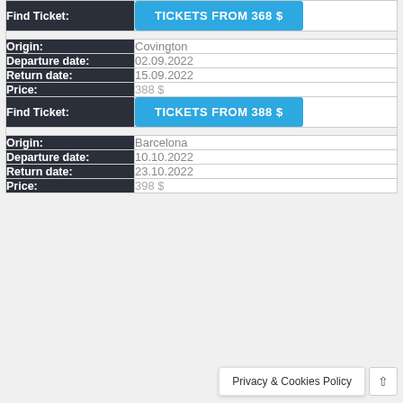| Field | Value |
| --- | --- |
| Find Ticket: | TICKETS FROM 368 $ |
| Origin: | Covington |
| Departure date: | 02.09.2022 |
| Return date: | 15.09.2022 |
| Price: | 388 $ |
| Find Ticket: | TICKETS FROM 388 $ |
| Origin: | Barcelona |
| Departure date: | 10.10.2022 |
| Return date: | 23.10.2022 |
| Price: | 398 $ |
Privacy & Cookies Policy